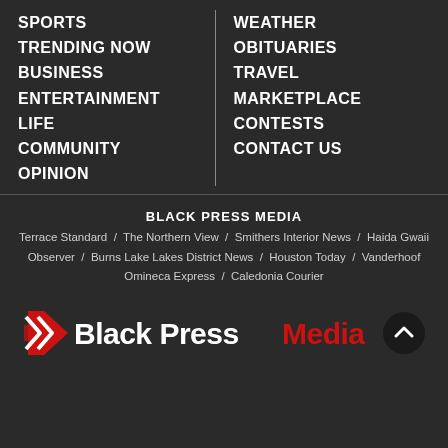SPORTS
TRENDING NOW
BUSINESS
ENTERTAINMENT
LIFE
COMMUNITY
OPINION
WEATHER
OBITUARIES
TRAVEL
MARKETPLACE
CONTESTS
CONTACT US
BLACK PRESS MEDIA
Terrace Standard / The Northern View / Smithers Interior News / Haida Gwaii Observer / Burns Lake Lakes District News / Houston Today / Vanderhoof Omineca Express / Caledonia Courier
[Figure (logo): Black Press Media logo with red arrow icon and wordmark 'Black Press Media' in white and red]